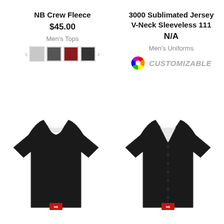NB Crew Fleece
$45.00
Men's Tops
[Figure (other): Color swatches: light gray, dark gray, red, charcoal with left/right arrows]
3000 Sublimated Jersey V-Neck Sleeveless 111
N/A
Men's Uniforms
[Figure (other): Customizable icon (color wheel) with italic text CUSTOMIZABLE]
[Figure (photo): Black New Balance crew neck t-shirt with small NB logo patch at hem]
[Figure (photo): Black New Balance button-front baseball jersey with small NB logo patch at hem]